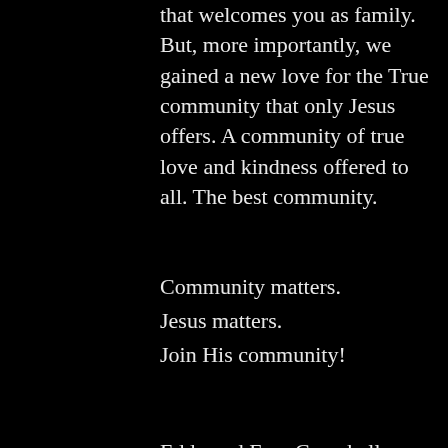that welcomes you as family. But, more importantly, we gained a new love for the True community that only Jesus offers. A community of true love and kindness offered to all. The best community.
Community matters.
Jesus matters.
Join His community!
Eddy and Fran Campbell
[Figure (infographic): Social share icons: Facebook, Twitter, LinkedIn, Link]
[Figure (infographic): Footer bar with eye/view icon showing 0 views, comment icon, and a red heart/like icon on the right]